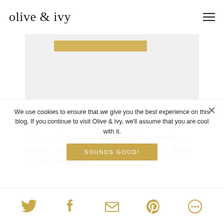olive & ivy
[Figure (screenshot): Light grey content box with a gold/yellow horizontal bar near the top, representing a form or content block]
This site uses Akismet to reduce spam. Learn how your comment data is processed.
We use cookies to ensure that we give you the best experience on this blog. If you continue to visit Olive & Ivy, we'll assume that you are cool with it.
SOUNDS GOOD!
Social sharing icons: Twitter, Facebook, Email, Pinterest, More